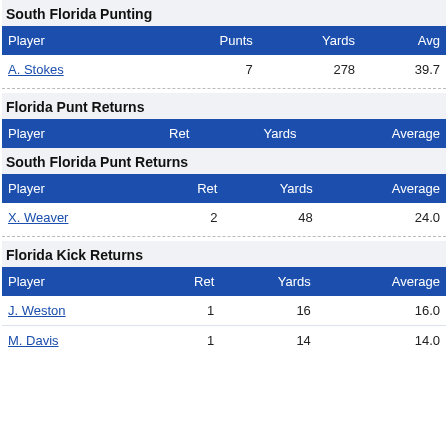South Florida Punting
| Player | Punts | Yards | Avg |
| --- | --- | --- | --- |
| A. Stokes | 7 | 278 | 39.7 |
Florida Punt Returns
| Player | Ret | Yards | Average |
| --- | --- | --- | --- |
South Florida Punt Returns
| Player | Ret | Yards | Average |
| --- | --- | --- | --- |
| X. Weaver | 2 | 48 | 24.0 |
Florida Kick Returns
| Player | Ret | Yards | Average |
| --- | --- | --- | --- |
| J. Weston | 1 | 16 | 16.0 |
| M. Davis | 1 | 14 | 14.0 |